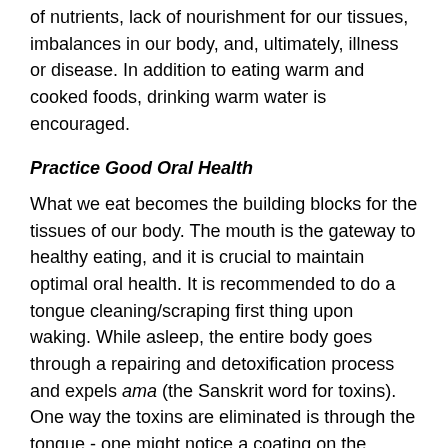of nutrients, lack of nourishment for our tissues, imbalances in our body, and, ultimately, illness or disease. In addition to eating warm and cooked foods, drinking warm water is encouraged.
Practice Good Oral Health
What we eat becomes the building blocks for the tissues of our body. The mouth is the gateway to healthy eating, and it is crucial to maintain optimal oral health. It is recommended to do a tongue cleaning/scraping first thing upon waking. While asleep, the entire body goes through a repairing and detoxification process and expels ama (the Sanskrit word for toxins). One way the toxins are eliminated is through the tongue - one might notice a coating on the tongue at waking - that's ama. By scraping the tongue one could help the body's natural detoxification process.
Guidelines for good balanced digestion include; eating fresh